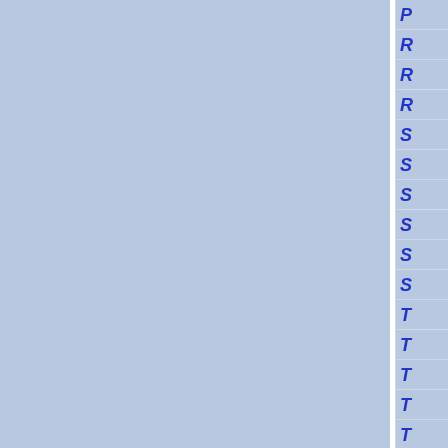[Figure (other): Index or table of contents sidebar showing blue italic capital letters P, R, R, R, S, S, S, S, S, S, T, T, T, T, T on a light blue background, representing alphabetical section index entries partially visible on the right edge of the page. Two light blue panels separated by a white vertical divider occupy most of the page.]